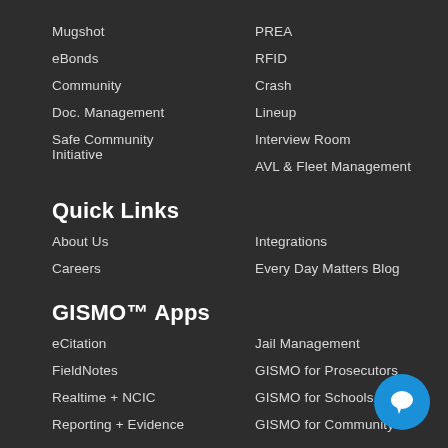Mugshot
PREA
eBonds
RFID
Community
Crash
Doc. Management
Lineup
Safe Community Initiative
Interview Room
AVL & Fleet Management
Quick Links
About Us
Integrations
Careers
Every Day Matters Blog
GISMO™ Apps
eCitation
Jail Management
FieldNotes
GISMO for Prosecutors
Realtime + NCIC
GISMO for Schools
Reporting + Evidence
GISMO for Community